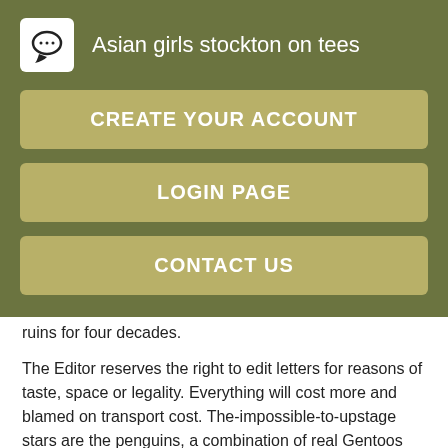Asian girls stockton on tees
CREATE YOUR ACCOUNT
LOGIN PAGE
CONTACT US
ruins for four decades.
The Editor reserves the right to edit letters for reasons of taste, space or legality. Everything will cost more and blamed on transport cost. The-impossible-to-upstage stars are the penguins, a combination of real Gentoos specially trained for the film and some computer-generated counterparts. About a quarter of all used cars under one year old are now worth more than a new equivalent, as the post-pandemic shortage of new